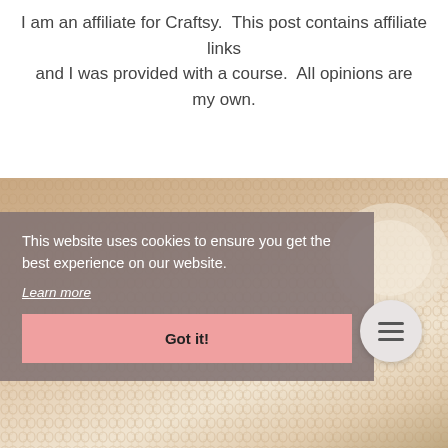I am an affiliate for Craftsy. This post contains affiliate links and I was provided with a course. All opinions are my own.
[Figure (photo): Close-up photo of knitted or crocheted fabric in warm beige/tan tones, partially covered by a cookie consent overlay dialog.]
This website uses cookies to ensure you get the best experience on our website. Learn more
Got it!